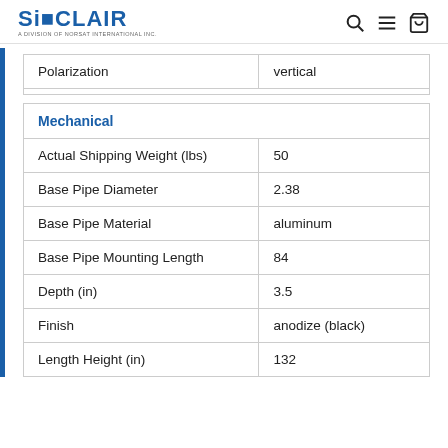SINCLAIR — A Division of Norsat International Inc. | Search, Menu, Cart icons
| Property | Value |
| --- | --- |
| Polarization | vertical |
| Property | Value |
| --- | --- |
| Mechanical |  |
| Actual Shipping Weight (lbs) | 50 |
| Base Pipe Diameter | 2.38 |
| Base Pipe Material | aluminum |
| Base Pipe Mounting Length | 84 |
| Depth (in) | 3.5 |
| Finish | anodize (black) |
| Length Height (in) | 132 |